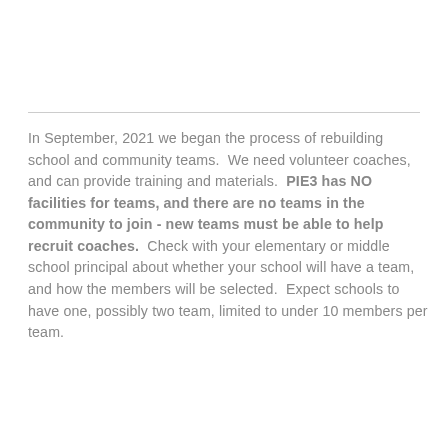In September, 2021 we began the process of rebuilding school and community teams.  We need volunteer coaches, and can provide training and materials.  PIE3 has NO facilities for teams, and there are no teams in the community to join - new teams must be able to help recruit coaches.  Check with your elementary or middle school principal about whether your school will have a team, and how the members will be selected.  Expect schools to have one, possibly two team, limited to under 10 members per team.